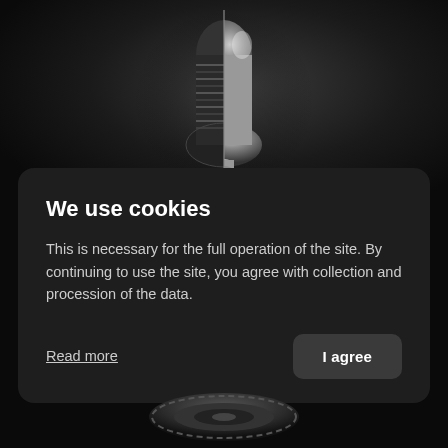[Figure (photo): Dark background with a 3D rendered metallic sculpture object centered at top, split showing two sides — one with ridged/grooved texture and one smooth metallic surface, displayed against a near-black background.]
We use cookies
This is necessary for the full operation of the site. By continuing to use the site, you agree with collection and procession of the data.
Read more
I agree
[Figure (photo): Partial view of a dark metallic circular mechanical object at the bottom of the page.]